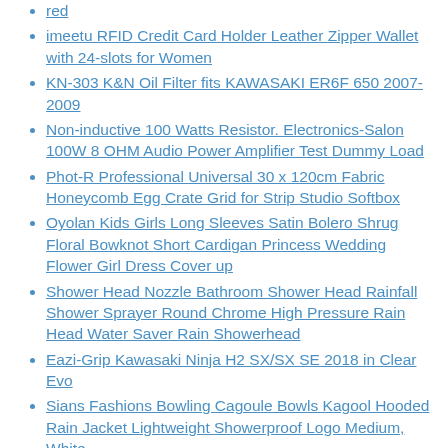red
imeetu RFID Credit Card Holder Leather Zipper Wallet with 24-slots for Women
KN-303 K&N Oil Filter fits KAWASAKI ER6F 650 2007-2009
Non-inductive 100 Watts Resistor. Electronics-Salon 100W 8 OHM Audio Power Amplifier Test Dummy Load
Phot-R Professional Universal 30 x 120cm Fabric Honeycomb Egg Crate Grid for Strip Studio Softbox
Oyolan Kids Girls Long Sleeves Satin Bolero Shrug Floral Bowknot Short Cardigan Princess Wedding Flower Girl Dress Cover up
Shower Head Nozzle Bathroom Shower Head Rainfall Shower Sprayer Round Chrome High Pressure Rain Head Water Saver Rain Showerhead
Eazi-Grip Kawasaki Ninja H2 SX/SX SE 2018 in Clear Evo
Sians Fashions Bowling Cagoule Bowls Kagool Hooded Rain Jacket Lightweight Showerproof Logo Medium, White
LED Torch Inspection Lamp,1PCS Portable Rechargeable LED Work Light